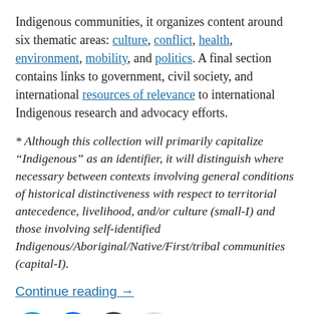Indigenous communities, it organizes content around six thematic areas: culture, conflict, health, environment, mobility, and politics. A final section contains links to government, civil society, and international resources of relevance to international Indigenous research and advocacy efforts.
* Although this collection will primarily capitalize “Indigenous” as an identifier, it will distinguish where necessary between contexts involving general conditions of historical distinctiveness with respect to territorial antecedence, livelihood, and/or culture (small-I) and those involving self-identified Indigenous/Aboriginal/Native/First/tribal communities (capital-I).
Continue reading →
[Figure (other): Social media sharing icons: Twitter (blue circle), Facebook (blue circle), Tumblr (dark circle), Email (grey circle)]
[Figure (other): Like button with star icon]